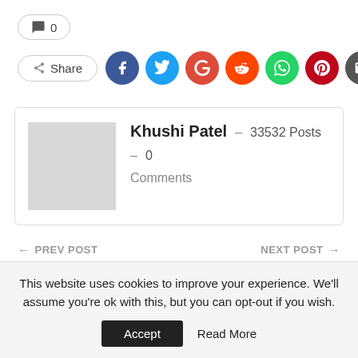💬 0
Share (social icons: Facebook, Twitter, Google+, Reddit, WhatsApp, Pinterest, Email)
Khushi Patel – 33532 Posts – 0 Comments
← PREV POST   NEXT POST →
This website uses cookies to improve your experience. We'll assume you're ok with this, but you can opt-out if you wish.
Accept   Read More